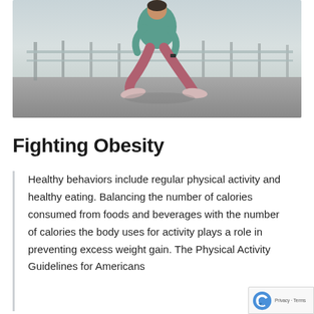[Figure (photo): A person in a teal jacket and dark pink/mauve leggings doing a stretching exercise outdoors on a concrete surface, with metal railings in the background.]
Fighting Obesity
Healthy behaviors include regular physical activity and healthy eating. Balancing the number of calories consumed from foods and beverages with the number of calories the body uses for activity plays a role in preventing excess weight gain. The Physical Activity Guidelines for Americans